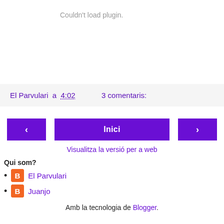Couldn't load plugin.
El Parvulari a 4:02    3 comentaris:
[Figure (screenshot): Navigation buttons: left arrow, Inici (home), right arrow]
Visualitza la versió per a web
Qui som?
El Parvulari
Juanjo
Amb la tecnologia de Blogger.